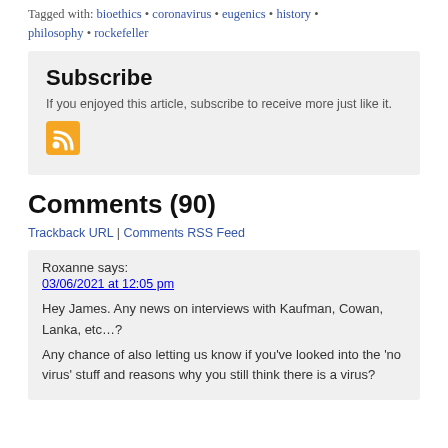Tagged with: bioethics • coronavirus • eugenics • history • philosophy • rockefeller
Subscribe
If you enjoyed this article, subscribe to receive more just like it.
[Figure (other): RSS feed icon - orange square with white RSS signal symbol]
Comments (90)
Trackback URL | Comments RSS Feed
Roxanne says:
03/06/2021 at 12:05 pm
Hey James. Any news on interviews with Kaufman, Cowan, Lanka, etc…?
Any chance of also letting us know if you've looked into the 'no virus' stuff and reasons why you still think there is a virus?